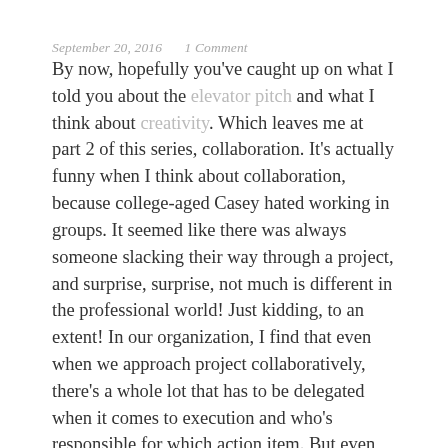September 20, 2016   1 Comment
By now, hopefully you've caught up on what I told you about the elevator pitch and what I think about creativity. Which leaves me at part 2 of this series, collaboration. It's actually funny when I think about collaboration, because college-aged Casey hated working in groups. It seemed like there was always someone slacking their way through a project, and surprise, surprise, not much is different in the professional world! Just kidding, to an extent! In our organization, I find that even when we approach project collaboratively, there's a whole lot that has to be delegated when it comes to execution and who's responsible for which action item. But even despite the fact some plates leave the table fuller than others, I know I thrive in a collaborative work environment. Continue reading →